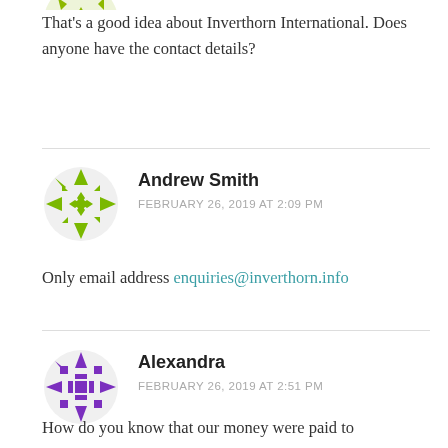[Figure (illustration): Partial green decorative avatar icon at top, cropped]
That's a good idea about Inverthorn International. Does anyone have the contact details?
[Figure (illustration): Green decorative mandala-style avatar for Andrew Smith]
Andrew Smith
FEBRUARY 26, 2019 AT 2:09 PM
Only email address enquiries@inverthorn.info
[Figure (illustration): Purple decorative mandala-style avatar for Alexandra]
Alexandra
FEBRUARY 26, 2019 AT 2:51 PM
How do you know that our money were paid to